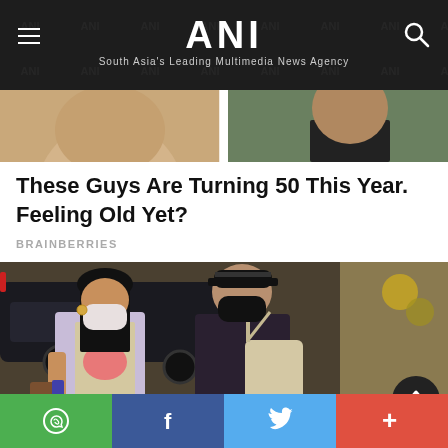ANI — South Asia's Leading Multimedia News Agency
[Figure (photo): Cropped photo showing two people's faces/necks, partially cut at top]
These Guys Are Turning 50 This Year. Feeling Old Yet?
BRAINBERRIES
[Figure (photo): Two people wearing face masks walking outdoors at night. The woman on the left wears a light purple wrap over a graphic tee; the man on the right wears a dark hoodie and black cap with a beige crossbody bag.]
WhatsApp | Facebook | Twitter | More